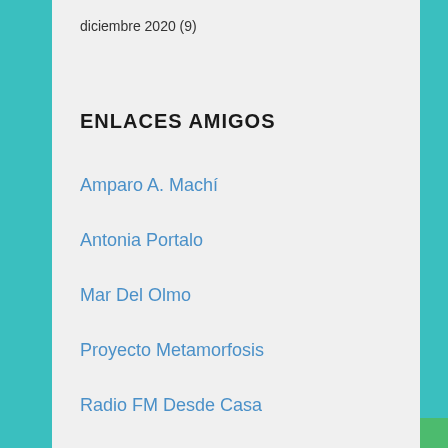diciembre 2020 (9)
ENLACES AMIGOS
Amparo A. Machí
Antonia Portalo
Mar Del Olmo
Proyecto Metamorfosis
Radio FM Desde Casa